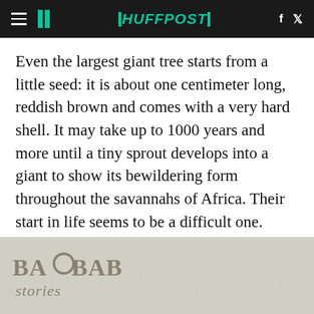HUFFPOST
Even the largest giant tree starts from a little seed: it is about one centimeter long, reddish brown and comes with a very hard shell. It may take up to 1000 years and more until a tiny sprout develops into a giant to show its bewildering form throughout the savannahs of Africa. Their start in life seems to be a difficult one. Therefore, Dr. Sarah Venter, baobab ecologist initiated a foundation which gives the giants a jump start.
[Figure (logo): BAOBAB stories logo on a grey-beige textured background]